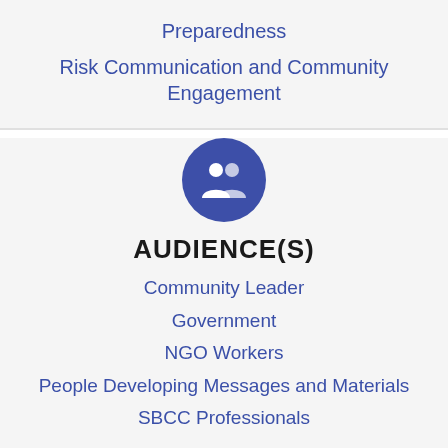Preparedness
Risk Communication and Community Engagement
AUDIENCE(S)
Community Leader
Government
NGO Workers
People Developing Messages and Materials
SBCC Professionals